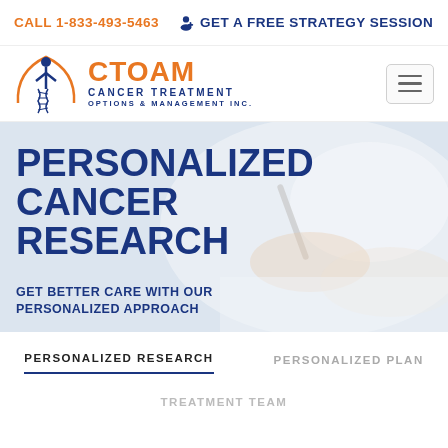CALL 1-833-493-5463   GET A FREE STRATEGY SESSION
[Figure (logo): CTOAM Cancer Treatment Options & Management Inc. logo with orange arc and blue DNA figure]
[Figure (photo): Background hero image of doctor/patient hands writing with pen on paper, blurred soft white and grey tones]
PERSONALIZED CANCER RESEARCH
GET BETTER CARE WITH OUR PERSONALIZED APPROACH
PERSONALIZED RESEARCH
PERSONALIZED PLAN
TREATMENT TEAM